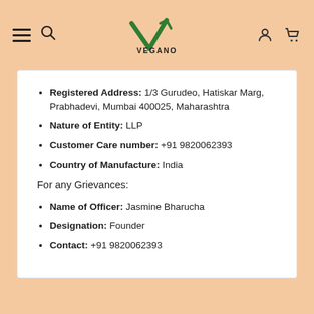Vegano for the Planet — navigation header with logo, hamburger menu, search, user and cart icons
Registered Address: 1/3 Gurudeo, Hatiskar Marg, Prabhadevi, Mumbai 400025, Maharashtra
Nature of Entity: LLP
Customer Care number: +91 9820062393
Country of Manufacture: India
For any Grievances:
Name of Officer: Jasmine Bharucha
Designation: Founder
Contact:  +91 9820062393